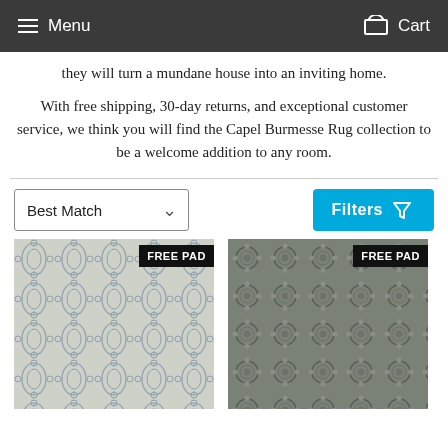Menu  Cart
they will turn a mundane house into an inviting home.
With free shipping, 30-day returns, and exceptional customer service, we think you will find the Capel Burmesse Rug collection to be a welcome addition to any room.
[Figure (screenshot): Sort dropdown showing 'Best Match' with a chevron, and a cyan 'Filters' button with funnel icon]
[Figure (photo): Two rug product images side by side, each with a 'FREE PAD' badge in the upper right corner. Left rug has light blue/grey geometric pattern. Right rug has darker grey circular/scroll pattern.]